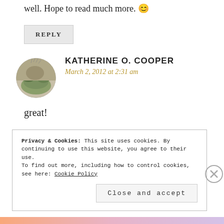well. Hope to read much more. 😊
REPLY
KATHERINE O. COOPER
March 2, 2012 at 2:31 am
great!
Privacy & Cookies: This site uses cookies. By continuing to use this website, you agree to their use. To find out more, including how to control cookies, see here: Cookie Policy
Close and accept